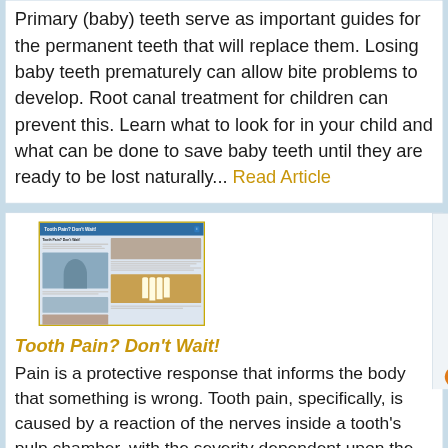Primary (baby) teeth serve as important guides for the permanent teeth that will replace them. Losing baby teeth prematurely can allow bite problems to develop. Root canal treatment for children can prevent this. Learn what to look for in your child and what can be done to save baby teeth until they are ready to be lost naturally... Read Article
[Figure (illustration): Magazine spread thumbnail showing 'Tooth Pain? Don't Wait!' article layout with photos of a person holding their jaw and dental images.]
Tooth Pain? Don't Wait!
Pain is a protective response that informs the body that something is wrong. Tooth pain, specifically, is caused by a reaction of the nerves inside a tooth's pulp chamber, with the severity dependent upon the type and degree of the stimulus. This article gives some examples of pain symptoms and their possible